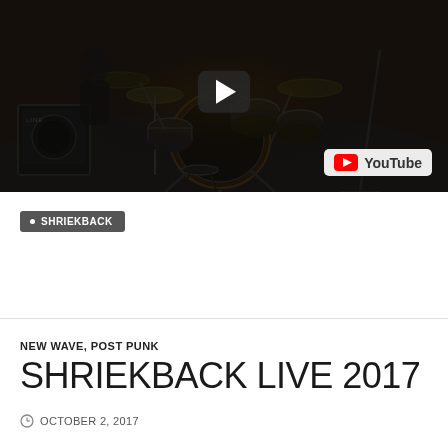[Figure (screenshot): YouTube video thumbnail showing a dark stage with drums and music equipment, with a play button overlay and YouTube logo badge in the bottom right corner]
SHRIEKBACK
NEW WAVE, POST PUNK
SHRIEKBACK LIVE 2017
OCTOBER 2, 2017